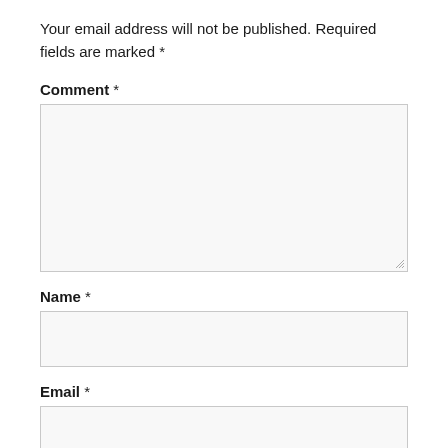Your email address will not be published. Required fields are marked *
Comment *
[Figure (other): Comment text area input field (empty)]
Name *
[Figure (other): Name text input field (empty)]
Email *
[Figure (other): Email text input field (empty)]